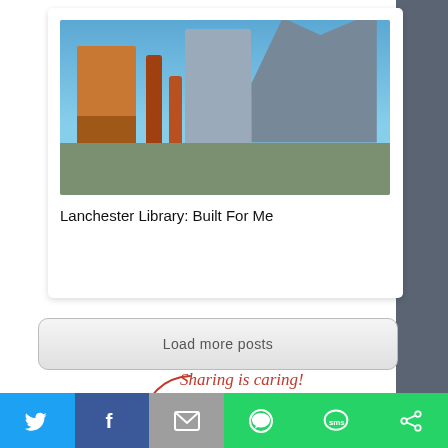[Figure (photo): Photo of a modern library building with orange/brick-colored structures and trees in foreground against blue sky]
Lanchester Library: Built For Me
[Figure (screenshot): Load more posts button]
[Figure (infographic): Sharing is caring! text with arrow pointing to social share icons (Facebook, Twitter, LinkedIn, and another share icon)]
You may also like:
[Figure (screenshot): Bottom social sharing bar with Twitter, Facebook, Email, WhatsApp, SMS, and other share buttons]
[Figure (photo): Thumbnail images of people for 'You may also like' section]